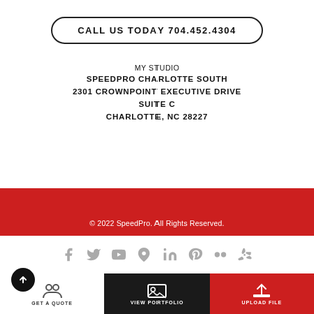CALL US TODAY 704.452.4304
MY STUDIO
SPEEDPRO CHARLOTTE SOUTH
2301 CROWNPOINT EXECUTIVE DRIVE
SUITE C
CHARLOTTE, NC 28227
© 2022 SpeedPro. All Rights Reserved.
Privacy Policy    Sitemap
[Figure (infographic): Social media icons row: Facebook, Twitter, YouTube, Google My Business, LinkedIn, Pinterest, Flickr, Yelp]
[Figure (infographic): Bottom action bar with three sections: GET A QUOTE (white, with people icon), VIEW PORTFOLIO (black, with image icon), UPLOAD FILE (red, with upload icon). A black circle with up arrow on far left.]